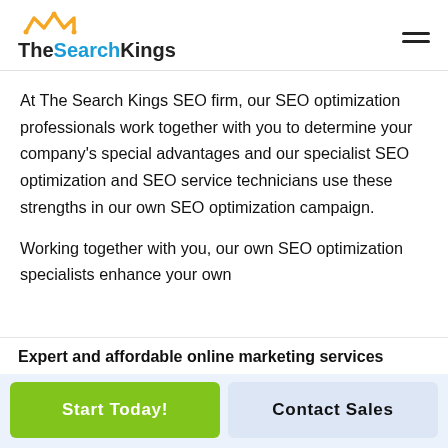[Figure (logo): The Search Kings logo with crown icon above the text. 'The' in black, 'Search' in blue, 'Kings' in black.]
At The Search Kings SEO firm, our SEO optimization professionals work together with you to determine your company's special advantages and our specialist SEO optimization and SEO service technicians use these strengths in our own SEO optimization campaign.
Working together with you, our own SEO optimization specialists enhance your own
Expert and affordable online marketing services
Start Today!
Contact Sales